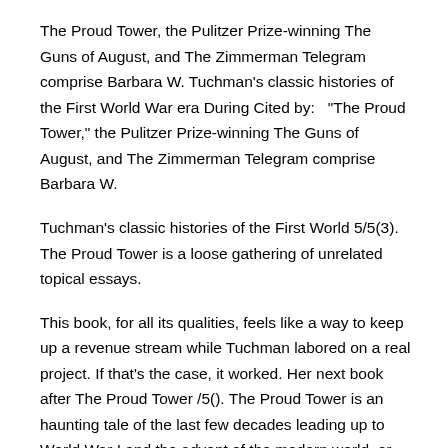The Proud Tower, the Pulitzer Prize-winning The Guns of August, and The Zimmerman Telegram comprise Barbara W. Tuchman's classic histories of the First World War era During Cited by:   "The Proud Tower," the Pulitzer Prize-winning The Guns of August, and The Zimmerman Telegram comprise Barbara W.
Tuchman's classic histories of the First World 5/5(3). The Proud Tower is a loose gathering of unrelated topical essays.
This book, for all its qualities, feels like a way to keep up a revenue stream while Tuchman labored on a real project. If that's the case, it worked. Her next book after The Proud Tower /5(). The Proud Tower is an haunting tale of the last few decades leading up to World War I and the advent of the modern world, or as Ms.
Tuchman puts it,'the terrible twentieth century'/5(). Book 2, The Proud Towers is a review of particular times and places either in Europe or America in the years before WW I.
The Guns of August is a highly targeted review of the politics and